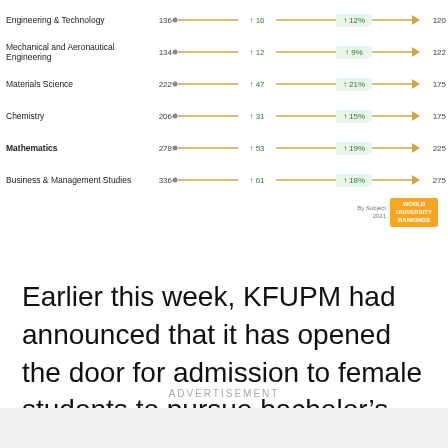[Figure (other): Ranking chart showing subject areas with start rank, change in rank, percentage change, and end rank for 2021 World University Rankings by Subject]
Earlier this week, KFUPM had announced that it has opened the door for admission to female students to pursue bachelor's degree courses, for the first time in the kingdom's history.
ADVERTISEMENT